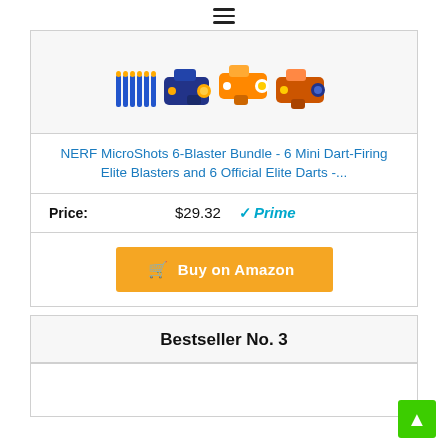[Figure (other): Hamburger menu icon (three horizontal lines)]
[Figure (photo): NERF MicroShots blasters bundle product image showing multiple small dart blasters in blue and orange]
NERF MicroShots 6-Blaster Bundle - 6 Mini Dart-Firing Elite Blasters and 6 Official Elite Darts -...
Price: $29.32 √Prime
Buy on Amazon
Bestseller No. 3